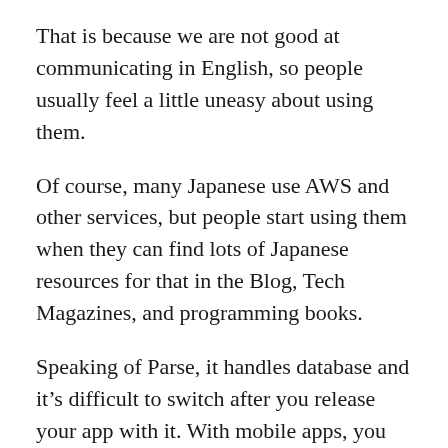That is because we are not good at communicating in English, so people usually feel a little uneasy about using them.
Of course, many Japanese use AWS and other services, but people start using them when they can find lots of Japanese resources for that in the Blog, Tech Magazines, and programming books.
Speaking of Parse, it handles database and it's difficult to switch after you release your app with it. With mobile apps, you also need to let users install new versions when you switch backend.
I also felt anxious about using it on my app on the App Store first, because there were not enough resources on the web from other developers actually tried it.
Therefore, it's really important to know that developer